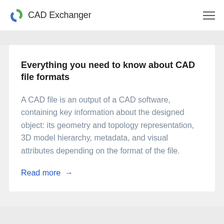CAD Exchanger
Everything you need to know about CAD file formats
A CAD file is an output of a CAD software, containing key information about the designed object: its geometry and topology representation, 3D model hierarchy, metadata, and visual attributes depending on the format of the file.
Read more →